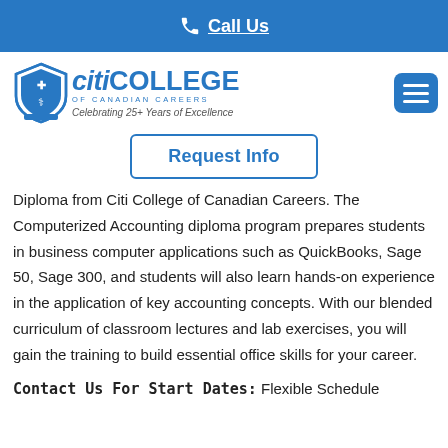Call Us
[Figure (logo): Citi College of Canadian Careers logo with shield emblem and text 'Celebrating 25+ Years of Excellence']
Request Info
Diploma from Citi College of Canadian Careers. The Computerized Accounting diploma program prepares students in business computer applications such as QuickBooks, Sage 50, Sage 300, and students will also learn hands-on experience in the application of key accounting concepts. With our blended curriculum of classroom lectures and lab exercises, you will gain the training to build essential office skills for your career.
Contact Us For Start Dates: Flexible Schedule